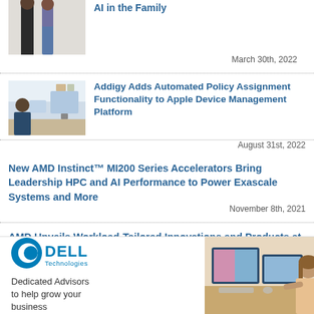[Figure (photo): Two people standing, partial view at top of page]
AI in the Family
March 30th, 2022
[Figure (photo): Person working at desk with Apple devices]
Addigy Adds Automated Policy Assignment Functionality to Apple Device Management Platform
August 31st, 2022
New AMD Instinct™ MI200 Series Accelerators Bring Leadership HPC and AI Performance to Power Exascale Systems and More
November 8th, 2021
AMD Unveils Workload-Tailored Innovations and Products at The Accelerated Data Center Premiere
[Figure (logo): Dell Technologies logo]
Dedicated Advisors to help grow your business
[Figure (photo): Woman working at dual monitor Dell setup]